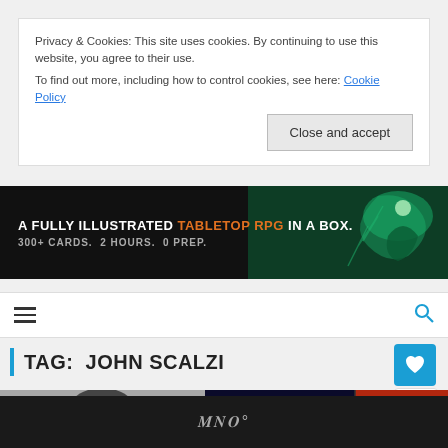Privacy & Cookies: This site uses cookies. By continuing to use this website, you agree to their use.
To find out more, including how to control cookies, see here: Cookie Policy
Close and accept
[Figure (infographic): Advertisement banner: dark background with text 'A FULLY ILLUSTRATED TABLETOP RPG IN A BOX. 300+ CARDS. 2 HOURS. 0 PREP.' with fantasy creature art on right side]
TAG:  JOHN SCALZI
[Figure (photo): Black and white photo of a person's face, and book covers including 'The Collapsing Empire', 'Old Man's War' by John, and a red book 'Redshirts']